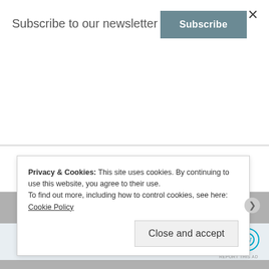Subscribe to our newsletter
Subscribe
★ Liked by 1 person
Reply
[Figure (screenshot): Ad banner: Build a writing habit. Post on the go. GET THE APP with WordPress logo]
REPORT THIS AD
Privacy & Cookies: This site uses cookies. By continuing to use this website, you agree to their use.
To find out more, including how to control cookies, see here: Cookie Policy
Close and accept